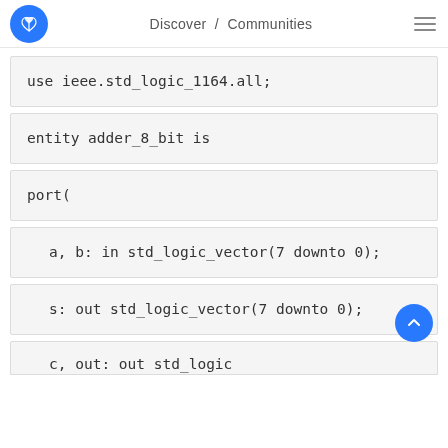Discover / Communities
use ieee.std_logic_1164.all;
entity adder_8_bit is
port(
a, b: in std_logic_vector(7 downto 0);
s: out std_logic_vector(7 downto 0);
c, out: out std_logic